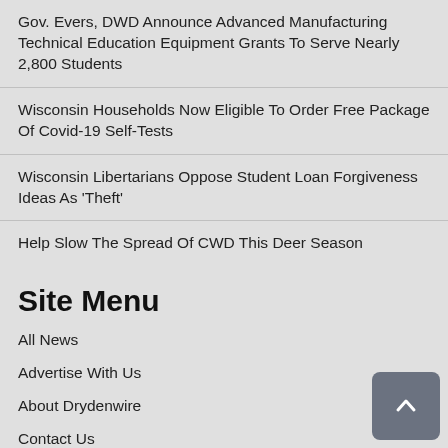Gov. Evers, DWD Announce Advanced Manufacturing Technical Education Equipment Grants To Serve Nearly 2,800 Students
Wisconsin Households Now Eligible To Order Free Package Of Covid-19 Self-Tests
Wisconsin Libertarians Oppose Student Loan Forgiveness Ideas As 'Theft'
Help Slow The Spread Of CWD This Deer Season
Site Menu
All News
Advertise With Us
About Drydenwire
Contact Us
News By County
Barron County
Burnett County
Polk County